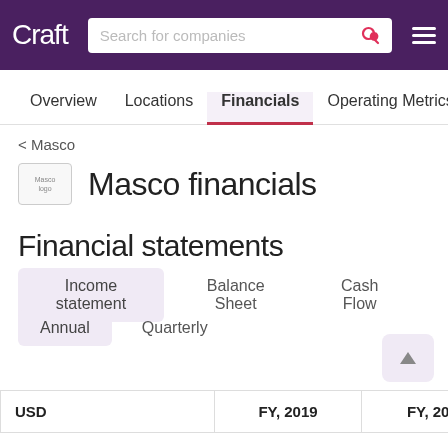Craft — Search for companies
Overview | Locations | Financials | Operating Metrics | Key P
< Masco
Masco financials
Financial statements
Income statement | Balance Sheet | Cash Flow
Annual | Quarterly
| USD | FY, 2019 | FY, 2020 |
| --- | --- | --- |